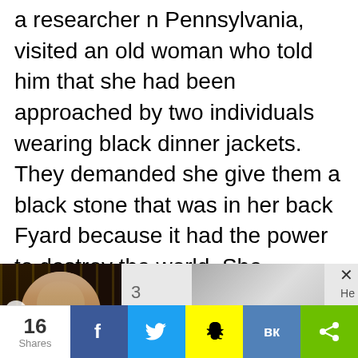a researcher n Pennsylvania, visited an old woman who told him that she had been approached by two individuals wearing black dinner jackets. They demanded she give them a black stone that was in her back Fyard because it had the power to destroy the world. She complied. Then they
[Figure (photo): Thumbnail navigation bar showing a photo of a man in front of slot machines, with '3 Steps' text and navigation arrows, plus a partially visible right-side image]
16 Shares